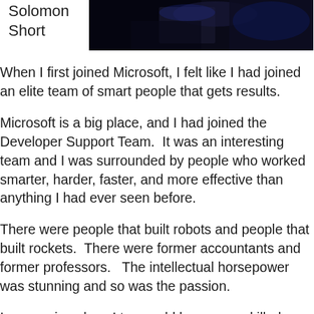Solomon Short
[Figure (photo): Dark photo of a person, mostly dark background with slight blue tones]
When I first joined Microsoft, I felt like I had joined an elite team of smart people that gets results.
Microsoft is a big place, and I had joined the Developer Support Team.  It was an interesting team and I was surrounded by people who worked smarter, harder, faster, and more effective than anything I had ever seen before.
There were people that built robots and people that built rockets.  There were former accountants and former professors.   The intellectual horsepower was stunning and so was the passion.
I was curious how I too could become a skilled Softie